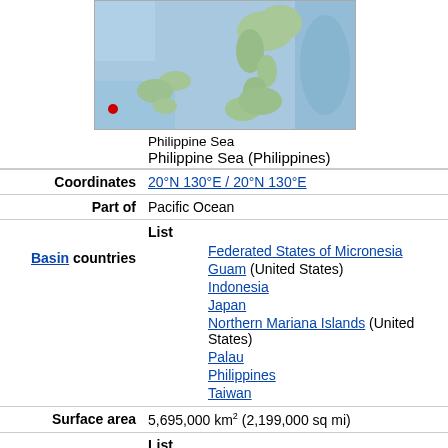[Figure (map): Map showing the Philippine Sea region with a red location pin marker in the lower left area, showing Philippine islands and surrounding ocean.]
Philippine Sea
Philippine Sea (Philippines)
| Coordinates | 20°N 130°E / 20°N 130°E |
| Part of | Pacific Ocean |
| Basin countries | List: Federated States of Micronesia, Guam (United States), Indonesia, Japan, Northern Mariana Islands (United States), Palau, Philippines, Taiwan |
| Surface area | 5,695,000 km² (2,199,000 sq mi) |
|  | List: Bonin Islands |